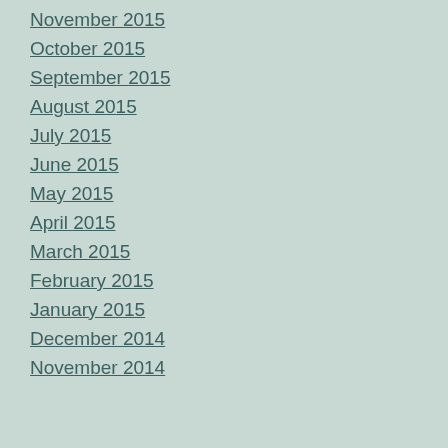November 2015
October 2015
September 2015
August 2015
July 2015
June 2015
May 2015
April 2015
March 2015
February 2015
January 2015
December 2014
November 2014